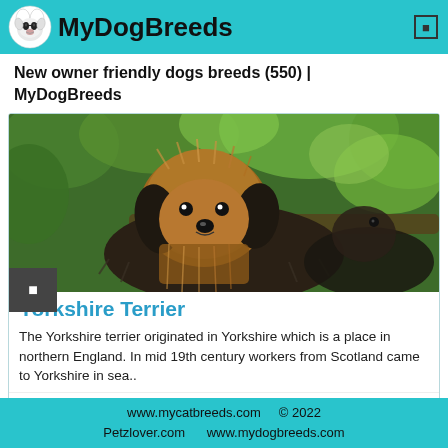MyDogBreeds
New owner friendly dogs breeds (550) | MyDogBreeds
[Figure (photo): A Yorkshire Terrier dog with long silky tan and dark fur lying outdoors with green foliage in background]
Yorkshire Terrier
The Yorkshire terrier originated in Yorkshire which is a place in northern England. In mid 19th century workers from Scotland came to Yorkshire in sea..
Toy dog   Toy dog   United Kingdom
www.mycatbreeds.com   © 2022 Petzlover.com   www.mydogbreeds.com